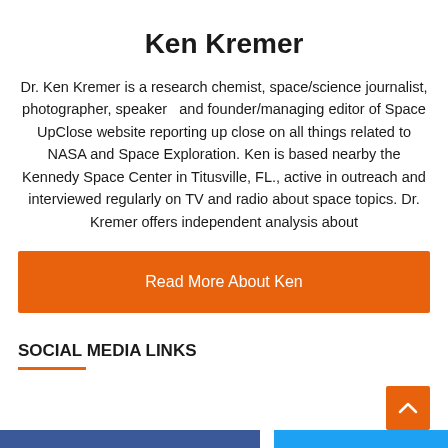Ken Kremer
Dr. Ken Kremer is a research chemist, space/science journalist, photographer, speaker  and founder/managing editor of Space UpClose website reporting up close on all things related to NASA and Space Exploration. Ken is based nearby the Kennedy Space Center in Titusville, FL., active in outreach and interviewed regularly on TV and radio about space topics. Dr. Kremer offers independent analysis about
Read More About Ken
SOCIAL MEDIA LINKS